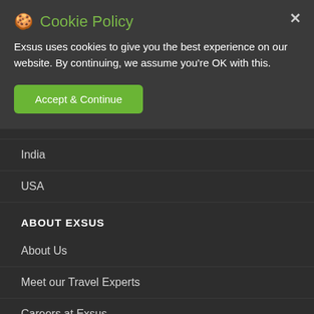🍪 Cookie Policy
Exsus uses cookies to give you the best experience on our website. By continuing, we assume you're OK with this.
Accept & Continue
[Figure (screenshot): EXSUS TRAVEL website header with hamburger menu icon on left, EXSUS TRAVEL logo centered, and envelope/email icon on right]
020 7337 9010
Asia
India
USA
ABOUT EXSUS
About Us
Meet our Travel Experts
Careers at Exsus